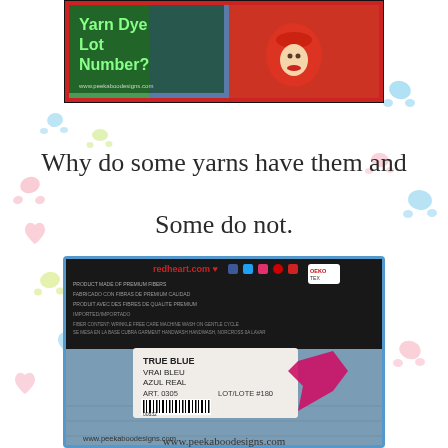[Figure (screenshot): Screenshot of a video thumbnail showing 'Yarn Dye Lot Number?' text over an image of a person holding a Christmas Santa mug, with a red border and website url www.peekaboodesigns.com]
Why do some yarns have them and
Some do not.
[Figure (photo): Photo of the back of a Red Heart yarn label showing 'TRUE BLUE / VRAI BLEU / AZUL REAL', ART. 0305, LOT/LOTE #180 with a barcode, on a spool of blue yarn. The redheart.com website is visible at top.]
www.peekaboodesigns.com